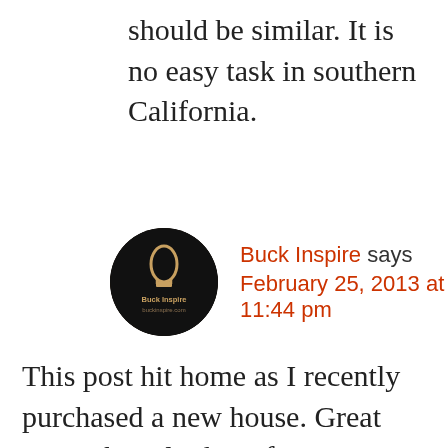should be similar. It is no easy task in southern California.
[Figure (photo): Circular avatar/logo for Buck Inspire blog, dark background with a lightbulb icon and text 'BuckInspire']
Buck Inspire says
February 25, 2013 at 11:44 pm
This post hit home as I recently purchased a new house. Great point about looking for alternative investments. The stock market